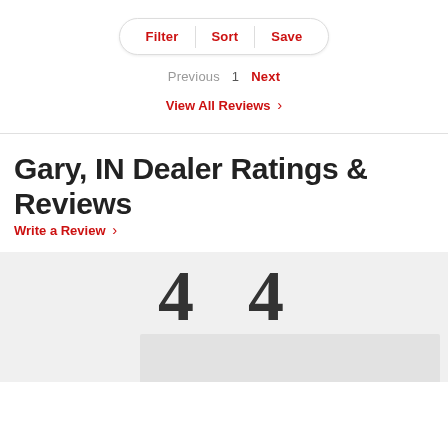[Figure (screenshot): Filter, Sort, Save button bar with pill/capsule shape border]
Previous  1  Next
View All Reviews >
Gary, IN Dealer Ratings & Reviews
Write a Review >
[Figure (other): Large numbers '4 4' displayed in bold serif font on gray background]